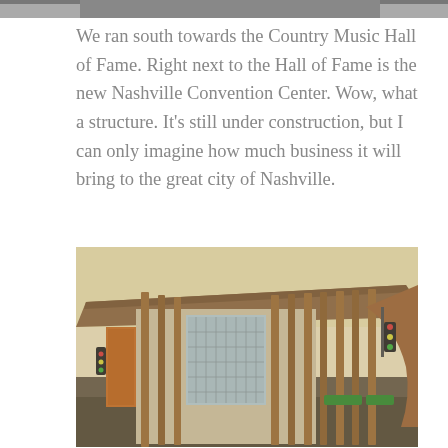[Figure (photo): Partial top edge of a photo from previous page, showing a cropped image strip at the very top of the page]
We ran south towards the Country Music Hall of Fame. Right next to the Hall of Fame is the new Nashville Convention Center. Wow, what a structure. It's still under construction, but I can only imagine how much business it will bring to the great city of Nashville.
[Figure (photo): Street-level photograph of the Nashville Convention Center building exterior, showing modern architecture with tall vertical wooden/copper pillars, glass facade, a large overhanging roof, and a traffic light visible on the right side. The photo has a vintage warm-toned filter applied.]